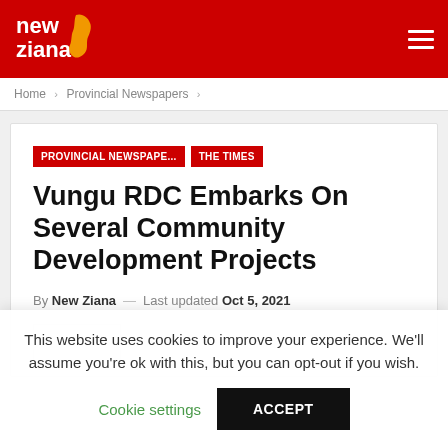new ziana
Home > Provincial Newspapers >
PROVINCIAL NEWSPAPE... | THE TIMES
Vungu RDC Embarks On Several Community Development Projects
By New Ziana — Last updated Oct 5, 2021
This website uses cookies to improve your experience. We'll assume you're ok with this, but you can opt-out if you wish.
Cookie settings | ACCEPT